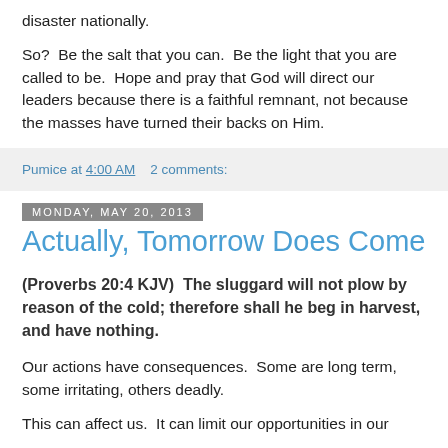disaster nationally.
So?  Be the salt that you can.  Be the light that you are called to be.  Hope and pray that God will direct our leaders because there is a faithful remnant, not because the masses have turned their backs on Him.
Pumice at 4:00 AM    2 comments:
Monday, May 20, 2013
Actually, Tomorrow Does Come
(Proverbs 20:4 KJV)  The sluggard will not plow by reason of the cold; therefore shall he beg in harvest, and have nothing.
Our actions have consequences.  Some are long term, some irritating, others deadly.
This can affect us.  It can limit our opportunities in our